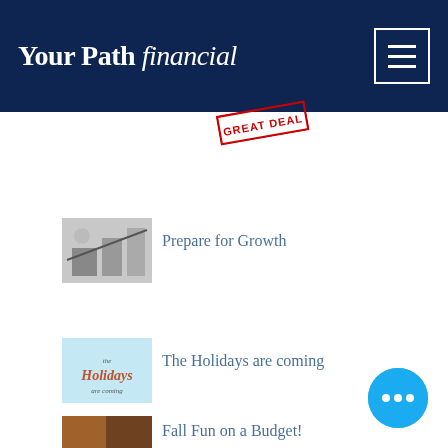Your Path financial
[Figure (photo): Stamp reading GREAT DEAL in red]
[Figure (photo): Thumbnail image of desk with papers and calculator representing financial growth]
Prepare for Growth
[Figure (photo): Holidays themed thumbnail with cursive text 'the Holidays are coming' on blue background]
The Holidays are coming
[Figure (photo): Fall themed thumbnail image]
Fall Fun on a Budget!